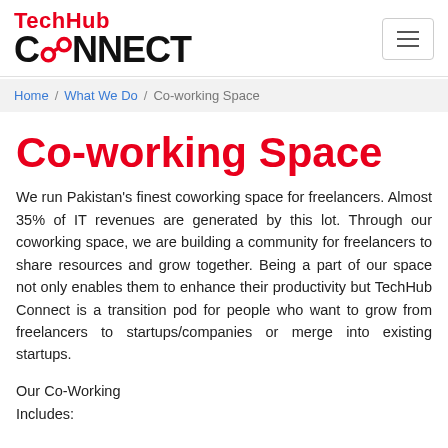[Figure (logo): TechHub CONNECT logo with red 'TechHub' text and bold black 'CONNECT' text]
Home / What We Do / Co-working Space
Co-working Space
We run Pakistan's finest coworking space for freelancers. Almost 35% of IT revenues are generated by this lot. Through our coworking space, we are building a community for freelancers to share resources and grow together. Being a part of our space not only enables them to enhance their productivity but TechHub Connect is a transition pod for people who want to grow from freelancers to startups/companies or merge into existing startups.
Our Co-Working
Includes: